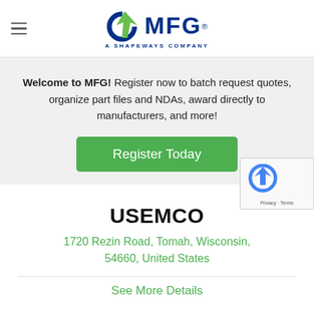[Figure (logo): MFG logo with green arrow and blue text, subtitle 'A SHAPEWAYS COMPANY']
Welcome to MFG! Register now to batch request quotes, organize part files and NDAs, award directly to manufacturers, and more!
Register Today
USEMCO
1720 Rezin Road, Tomah, Wisconsin, 54660, United States
See More Details